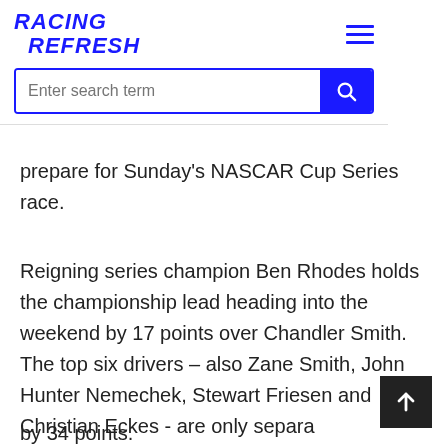Racing Refresh
day's 1, ) too, n to prepare for Sunday's NASCAR Cup Series race.
Reigning series champion Ben Rhodes holds the championship lead heading into the weekend by 17 points over Chandler Smith. The top six drivers – also Zane Smith, John Hunter Nemechek, Stewart Friesen and Christian Eckes - are only separated by 34 points.